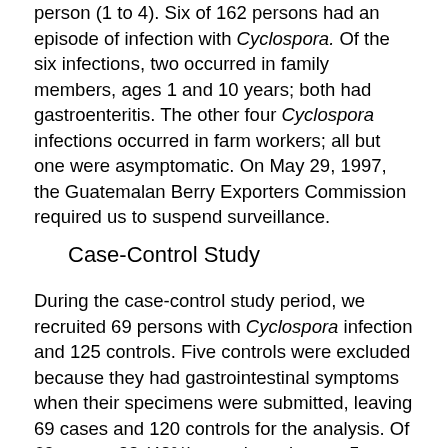person (1 to 4). Six of 162 persons had an episode of infection with Cyclospora. Of the six infections, two occurred in family members, ages 1 and 10 years; both had gastroenteritis. The other four Cyclospora infections occurred in farm workers; all but one were asymptomatic. On May 29, 1997, the Guatemalan Berry Exporters Commission required us to suspend surveillance.
Case-Control Study
During the case-control study period, we recruited 69 persons with Cyclospora infection and 125 controls. Five controls were excluded because they had gastrointestinal symptoms when their specimens were submitted, leaving 69 cases and 120 controls for the analysis. Of 69 cases, 33 (48%) were in patients < 5 years of age and 26 (38%) were in male patients. Among 120 controls, 56 (47%) were < 5...